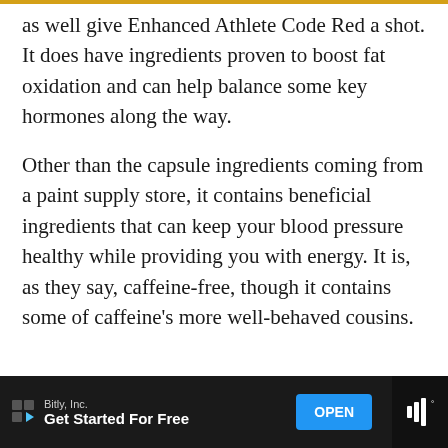as well give Enhanced Athlete Code Red a shot. It does have ingredients proven to boost fat oxidation and can help balance some key hormones along the way.
Other than the capsule ingredients coming from a paint supply store, it contains beneficial ingredients that can keep your blood pressure healthy while providing you with energy. It is, as they say, caffeine-free, though it contains some of caffeine's more well-behaved cousins.
[Figure (screenshot): Advertisement banner at bottom: Bitly, Inc. 'Get Started For Free' with OPEN button and volume icon on dark background]